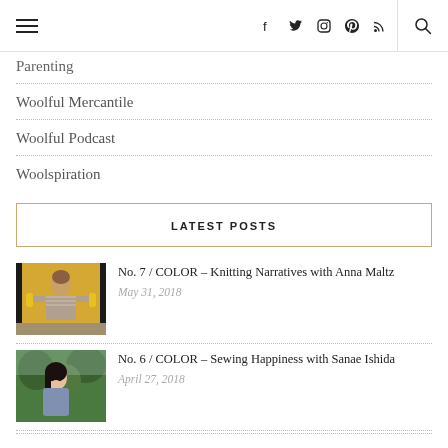Navigation header with hamburger menu, social icons (facebook, twitter, instagram, pinterest, rss), and search
Parenting
Woolful Mercantile
Woolful Podcast
Woolspiration
LATEST POSTS
[Figure (photo): Woman in patterned sweater holding yellow objects in front of yellow door]
No. 7 / COLOR – Knitting Narratives with Anna Maltz
May 31, 2018
[Figure (photo): Woman with dark hair outdoors near trees]
No. 6 / COLOR – Sewing Happiness with Sanae Ishida
April 27, 2018